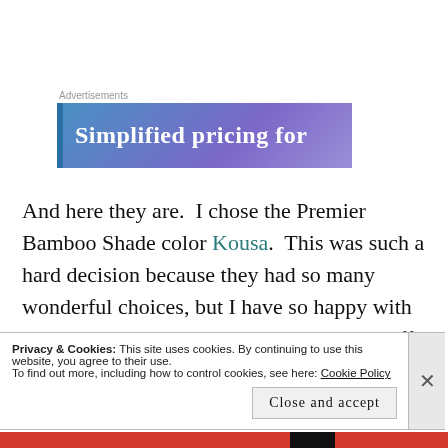[Figure (other): Advertisement banner with gradient blue-purple background and white bold text reading 'Simplified pricing for']
And here they are.  I chose the Premier Bamboo Shade color Kousa.  This was such a hard decision because they had so many wonderful choices, but I have so happy with this choice.  Oh and I think they are 40% off right now!  Oh my!
Privacy & Cookies: This site uses cookies. By continuing to use this website, you agree to their use.
To find out more, including how to control cookies, see here: Cookie Policy
Close and accept